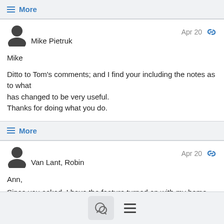≡ More
Mike Pietruk
Apr 20
Mike

Ditto to Tom's comments; and I find your including the notes as to what
has changed to be very useful.
Thanks for doing what you do.
≡ More
Van Lant, Robin
Apr 20
Ann,
Since you asked, I have the feature turned on with my home